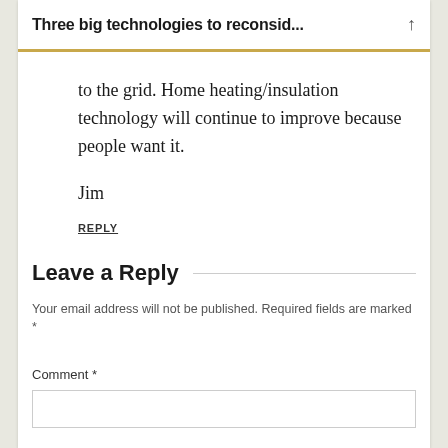Three big technologies to reconsid...
to the grid. Home heating/insulation technology will continue to improve because people want it.
Jim
REPLY
Leave a Reply
Your email address will not be published. Required fields are marked *
Comment *